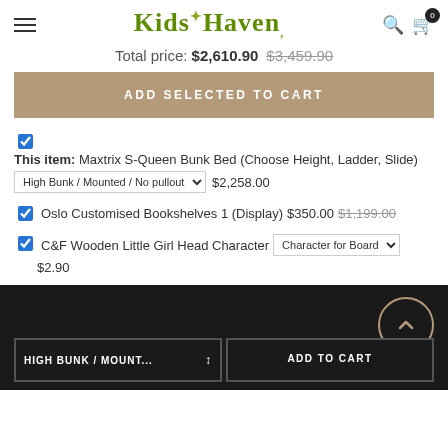Kids Haven
Total price: $2,610.90  $3,459.90
ADD SELECTED TO CART
This item: Maxtrix S-Queen Bunk Bed (Choose Height, Ladder, Slide) [High Bunk / Mounted / No pullout] $2,258.00
Oslo Customised Bookshelves 1 (Display) $350.00  $1,199.00
C&F Wooden Little Girl Head Character [Character for Board] $2.90
Get in touch
HIGH BUNK / MOUNT...   ADD TO CART